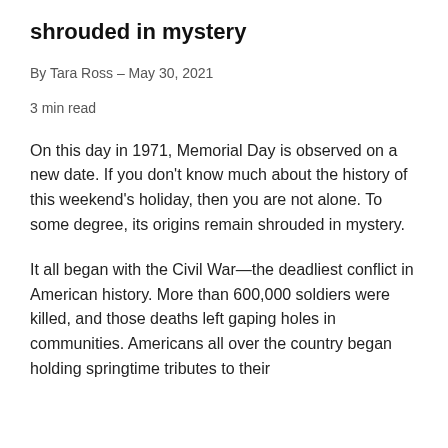shrouded in mystery
By Tara Ross – May 30, 2021
3 min read
On this day in 1971, Memorial Day is observed on a new date. If you don't know much about the history of this weekend's holiday, then you are not alone. To some degree, its origins remain shrouded in mystery.
It all began with the Civil War—the deadliest conflict in American history. More than 600,000 soldiers were killed, and those deaths left gaping holes in communities. Americans all over the country began holding springtime tributes to their